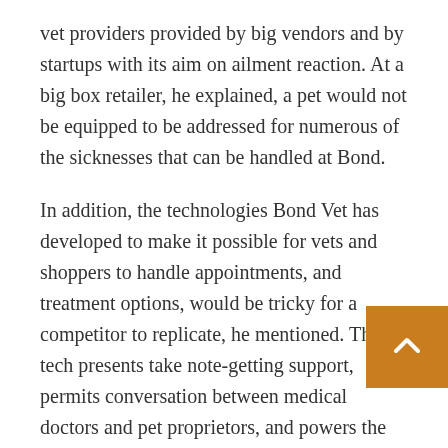vet providers provided by big vendors and by startups with its aim on ailment reaction. At a big box retailer, he explained, a pet would not be equipped to be addressed for numerous of the sicknesses that can be handled at Bond.
In addition, the technologies Bond Vet has developed to make it possible for vets and shoppers to handle appointments, and treatment options, would be tricky for a competitor to replicate, he mentioned. That tech presents take note-getting support, permits conversation between medical doctors and pet proprietors, and powers the 24-hour helpline staffed by nurses.
Bond Vet also offers a reduce cost substitute for sic he said. Pet proprietors can help you save approxim 50% of the expense of a trip to an emergency pet healthcare facility, he said, as Bond Vet sells its Bond...